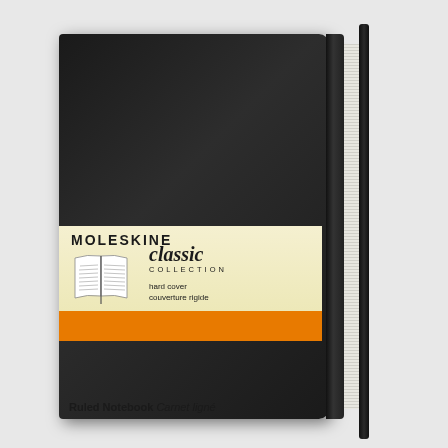[Figure (photo): A black Moleskine classic collection hard cover ruled notebook standing upright at a slight angle, showing the front cover and spine. A black elastic band runs vertically along the right side. The notebook has a cream/yellow paper band wrapper around the middle showing the Moleskine brand name in bold caps, an open book illustration, 'classic collection' text in serif italic, 'hard cover / couverture rigide' underneath, and an orange bottom strip reading 'Ruled Notebook  Carnet ligné'.]